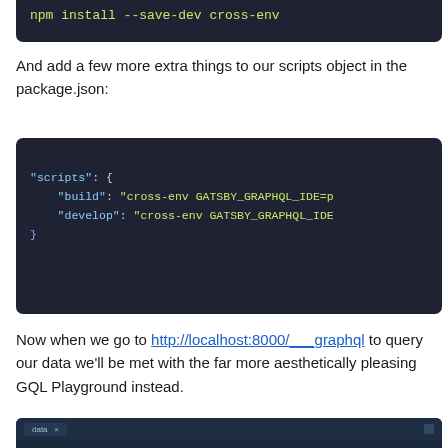[Figure (screenshot): Code block showing: npm install --save-dev cross-env]
And add a few more extra things to our scripts object in the package.json:
[Figure (screenshot): Code block showing JSON scripts object with build and develop entries using cross-env GATSBY_GRAPHQL_IDE]
Now when we go to http://localhost:8000/___graphql to query our data we'll be met with the far more aesthetically pleasing GQL Playground instead.
[Figure (screenshot): Screenshot of GQL Playground interface in a browser-like window with a play button in the center]